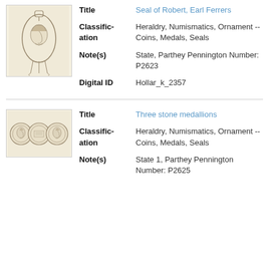[Figure (illustration): Sketch of a hanging seal showing a profile portrait of a person, with decorative elements, in a vertical oval shape.]
Title: Seal of Robert, Earl Ferrers
Classification: Heraldry, Numismatics, Ornament -- Coins, Medals, Seals
Note(s): State, Parthey Pennington Number: P2623
Digital ID: Hollar_k_2357
[Figure (illustration): Three stone medallions side by side showing profile portraits in circular frames.]
Title: Three stone medallions
Classification: Heraldry, Numismatics, Ornament -- Coins, Medals, Seals
Note(s): State 1, Parthey Pennington Number: P2625